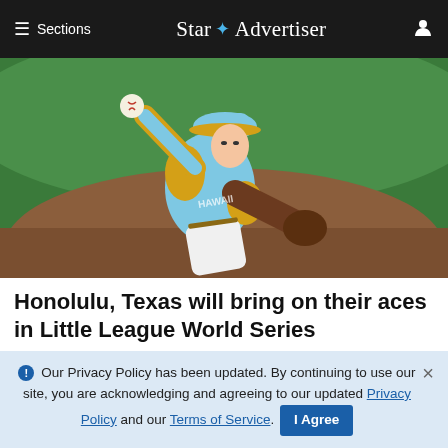≡ Sections   Star ✦ Advertiser   👤
[Figure (photo): A youth baseball pitcher in a light blue and gold uniform with a matching cap delivering a pitch. The player is lunging forward in full throwing motion on a baseball field with a green outfield and red clay infield visible in the background.]
Honolulu, Texas will bring on their aces in Little League World Series
ℹ Our Privacy Policy has been updated. By continuing to use our site, you are acknowledging and agreeing to our updated Privacy Policy and our Terms of Service. I Agree